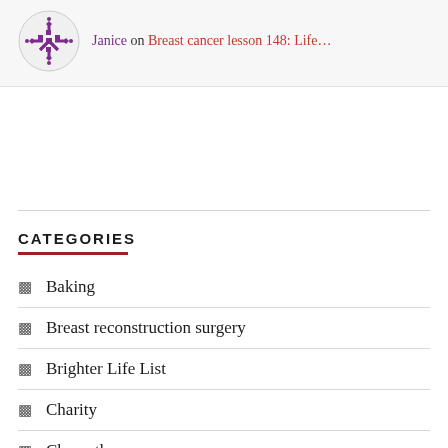Janice on Breast cancer lesson 148: Life…
CATEGORIES
Baking
Breast reconstruction surgery
Brighter Life List
Charity
Chemotherapy